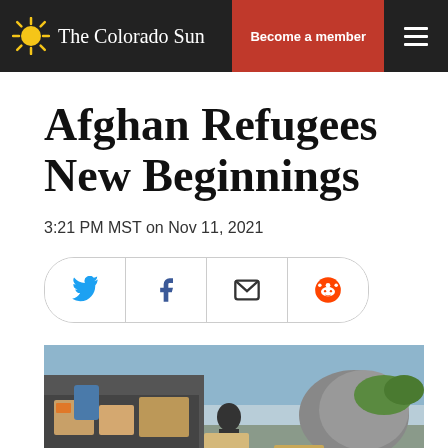The Colorado Sun | Become a member
Afghan Refugees New Beginnings
3:21 PM MST on Nov 11, 2021
[Figure (other): Social share buttons: Twitter, Facebook, Email, Reddit]
[Figure (photo): People unloading boxes and supplies from a vehicle outdoors]